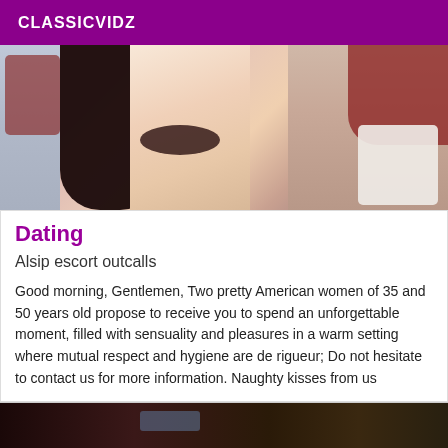CLASSICVIDZ
[Figure (photo): Photo of person with dark hair lying down, partial view, with red and white fabric in background]
Dating
Alsip escort outcalls
Good morning, Gentlemen, Two pretty American women of 35 and 50 years old propose to receive you to spend an unforgettable moment, filled with sensuality and pleasures in a warm setting where mutual respect and hygiene are de rigueur; Do not hesitate to contact us for more information. Naughty kisses from us
[Figure (photo): Dark photo, partially visible, bottom of page]